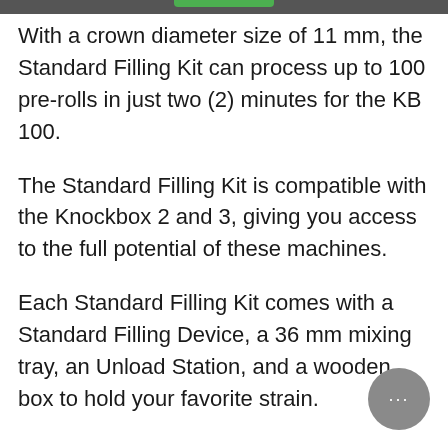With a crown diameter size of 11 mm, the Standard Filling Kit can process up to 100 pre-rolls in just two (2) minutes for the KB 100.
The Standard Filling Kit is compatible with the Knockbox 2 and 3, giving you access to the full potential of these machines.
Each Standard Filling Kit comes with a Standard Filling Device, a 36 mm mixing tray, an Unload Station, and a wooden box to hold your favorite strain.